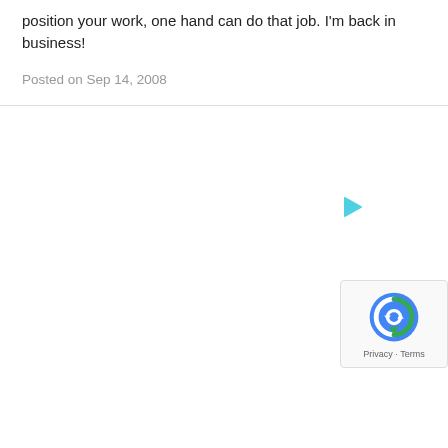position your work, one hand can do that job. I'm back in business!
Posted on Sep 14, 2008
[Figure (other): Play button icon in teal/cyan color]
[Figure (other): Google reCAPTCHA badge with Privacy and Terms links]